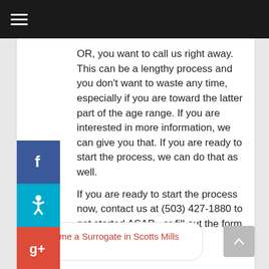Navigation bar with hamburger menu
OR, you want to call us right away. This can be a lengthy process and you don't want to waste any time, especially if you are toward the latter part of the age range. If you are interested in more information, we can give you that. If you are ready to start the process, we can do that as well.
If you are ready to start the process now, contact us at (503) 427-1880 to get started ASAP– or fill out the form below.
‹ Become a Surrogate in Scotts Mills OR